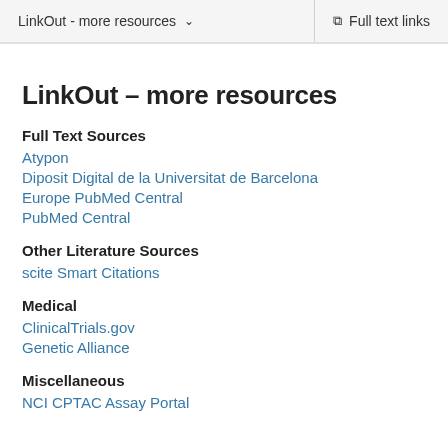LinkOut - more resources   Full text links
LinkOut – more resources
Full Text Sources
Atypon
Diposit Digital de la Universitat de Barcelona
Europe PubMed Central
PubMed Central
Other Literature Sources
scite Smart Citations
Medical
ClinicalTrials.gov
Genetic Alliance
Miscellaneous
NCI CPTAC Assay Portal